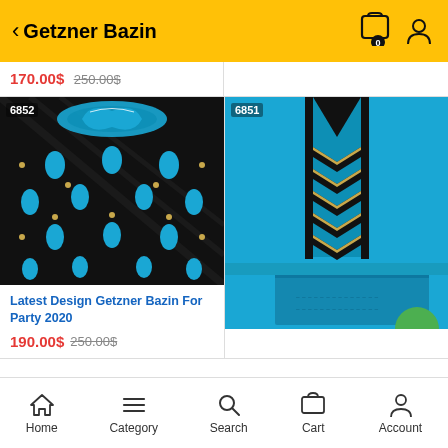Getzner Bazin
170.00$ 250.00$
[Figure (photo): Black fabric with teal/turquoise decorative teardrop embroidery patterns and beads, item #6852]
Latest Design Getzner Bazin For Party 2020
190.00$ 250.00$
[Figure (photo): Bright blue Bazin fabric laid out showing embroidered neckline design with black and gold chevron pattern, item #6851]
Home  Category  Search  Cart  Account